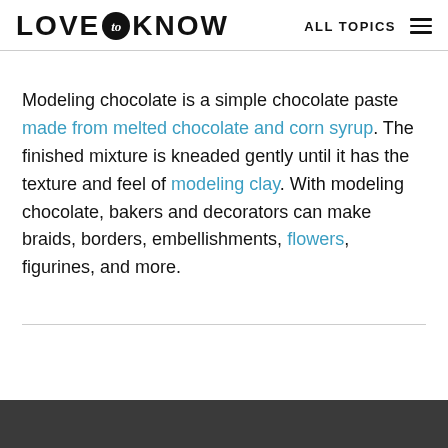LOVE to KNOW  ALL TOPICS
Modeling chocolate is a simple chocolate paste made from melted chocolate and corn syrup. The finished mixture is kneaded gently until it has the texture and feel of modeling clay. With modeling chocolate, bakers and decorators can make braids, borders, embellishments, flowers, figurines, and more.